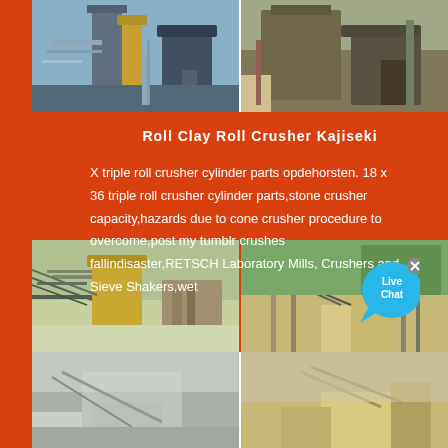[Figure (photo): Two industrial crusher/mill facility photos side by side at the top of the page]
Roll Clay Roll Crusher Kajiseki
X triple roll crusher cylinder parts opdehorsten. 18 x 36 triple roll crusher cylinder parts,stone crusher capacity,hazards due to cone crusher procedure to overcome,post my tumblr crushes fallindisaster,RETSCH Laboratory Mills, Crushers and Sieve Shakers,wet
[Figure (photo): Live Chat bubble overlay with blue speech bubble icon and X close button]
[Figure (photo): Two quarry/crushing site photos side by side in the middle]
[Figure (photo): Two more quarry/aggregate site photos side by side at the bottom]